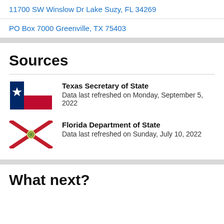11700 SW Winslow Dr Lake Suzy, FL 34269
PO Box 7000 Greenville, TX 75403
Sources
[Figure (illustration): Texas state flag — blue vertical stripe with white star on left, red and white horizontal stripes on right]
Texas Secretary of State
Data last refreshed on Monday, September 5, 2022
[Figure (illustration): Florida state flag — red X cross on white background with state seal in center]
Florida Department of State
Data last refreshed on Sunday, July 10, 2022
What next?